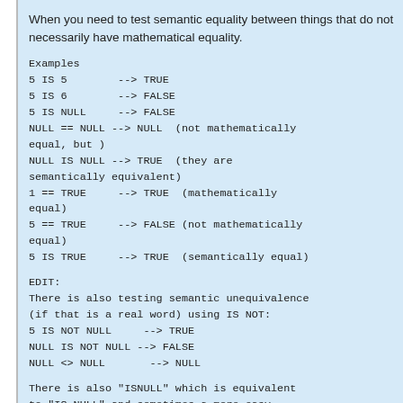When you need to test semantic equality between things that do not necessarily have mathematical equality.
Examples
5 IS 5        --> TRUE
5 IS 6        --> FALSE
5 IS NULL     --> FALSE
NULL == NULL --> NULL  (not mathematically equal, but )
NULL IS NULL --> TRUE  (they are semantically equivalent)
1 == TRUE     --> TRUE  (mathematically equal)
5 == TRUE     --> FALSE (not mathematically equal)
5 IS TRUE     --> TRUE  (semantically equal)
EDIT:
There is also testing semantic unequivalence (if that is a real word) using IS NOT:
5 IS NOT NULL     --> TRUE
NULL IS NOT NULL --> FALSE
NULL <> NULL      --> NULL
There is also "ISNULL" which is equivalent to "IS NULL" and sometimes a more easy statement to use, so that: